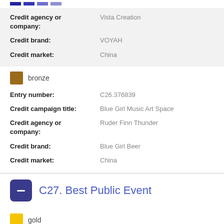Credit agency or company: Vista Creation
Credit brand: VOYAH
Credit market: China
bronze
Entry number: C26.376839
Credit campaign title: Blue Girl Music Art Space
Credit agency or company: Ruder Finn Thunder
Credit brand: Blue Girl Beer
Credit market: China
C27. Best Public Event
gold
Entry number: C27.376397